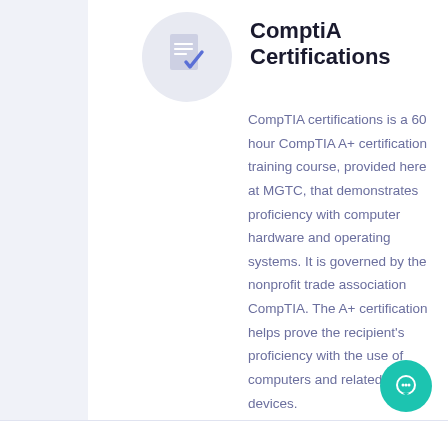[Figure (illustration): Document icon with blue checkmark inside a light gray circle]
ComptiA Certifications
CompTIA certifications is a 60 hour CompTIA A+ certification training course, provided here at MGTC, that demonstrates proficiency with computer hardware and operating systems. It is governed by the nonprofit trade association CompTIA. The A+ certification helps prove the recipient's proficiency with the use of computers and related devices.